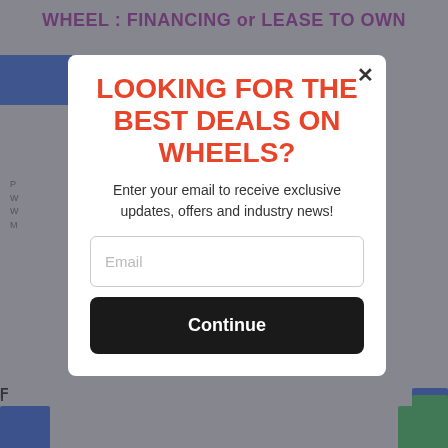WHEEL : FINANCING or LEASE TO OWN
[Figure (screenshot): Background webpage content partially visible behind modal overlay, showing a dimmed automotive financing website with blue bars, text snippets, and buttons.]
LOOKING FOR THE BEST DEALS ON WHEELS?
Enter your email to receive exclusive updates, offers and industry news!
Email
Continue